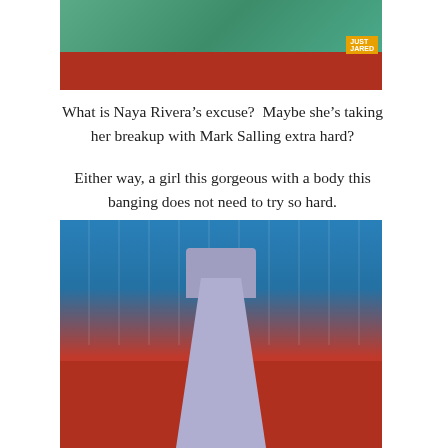[Figure (photo): Partial photo showing feet and bottom of a teal/green gown on a red carpet, with a Just Jared watermark badge visible]
What is Naya Rivera’s excuse?  Maybe she’s taking her breakup with Mark Salling extra hard?
Either way, a girl this gorgeous with a body this banging does not need to try so hard.
[Figure (photo): Woman in a lavender/periwinkle one-shoulder gown with floral/crystal embellishments posing on a red carpet in front of a blue NBC Emmy Awards step-and-repeat backdrop]